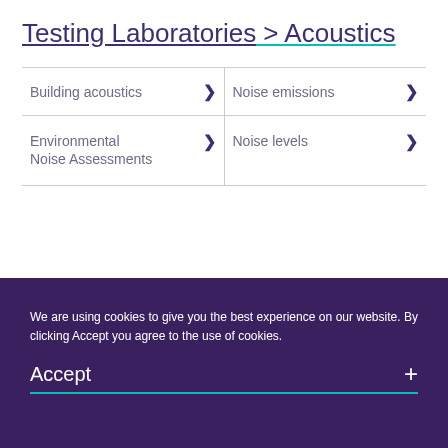Testing Laboratories > Acoustics
Building acoustics >
Noise emissions >
Environmental Noise Assessments >
Noise levels >
Therm Energy Ltd
Testing Laboratories / 4660
1 Tarrant Street, Arundel, West Sussex BN18
We are using cookies to give you the best experience on our website. By clicking Accept you agree to the use of cookies.
Accept +